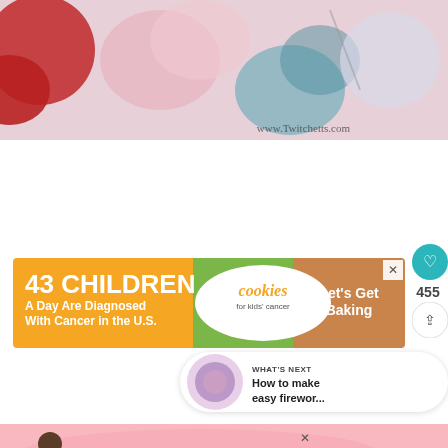[Figure (photo): Close-up photo of colorful macarons and baked goods with pastel colors, with watermark www.Twitchetts.com in the lower right]
[Figure (infographic): Advertisement banner: orange and green cookies for kids cancer ad. Text: 43 CHILDREN A Day Are Diagnosed With Cancer in the U.S. cookies for kids cancer Let's Get Baking. With a close X button in upper right.]
[Figure (infographic): Heart icon button (teal circle with white heart)]
455
[Figure (infographic): Share icon button (white circle with share symbol)]
[Figure (infographic): What's Next panel: thumbnail of swirled colorful image, text WHAT'S NEXT → How to make easy firewor...]
[Figure (infographic): Bottom advertisement banner: pink background with person in yellow shirt. Text: Actions speak louder than words. With close X button.]